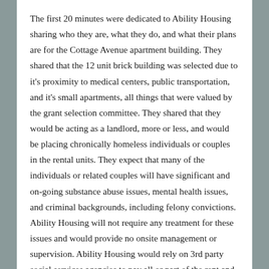The first 20 minutes were dedicated to Ability Housing sharing who they are, what they do, and what their plans are for the Cottage Avenue apartment building. They shared that the 12 unit brick building was selected due to it's proximity to medical centers, public transportation, and it's small apartments, all things that were valued by the grant selection committee. They shared that they would be acting as a landlord, more or less, and would be placing chronically homeless individuals or couples in the rental units. They expect that many of the individuals or related couples will have significant and on-going substance abuse issues, mental health issues, and criminal backgrounds, including felony convictions. Ability Housing will not require any treatment for these issues and would provide no onsite management or supervision. Ability Housing would rely on 3rd party social services agencies to pay all or part of the rent and also provide wrap around services. However, no services would be required - they are all voluntary.